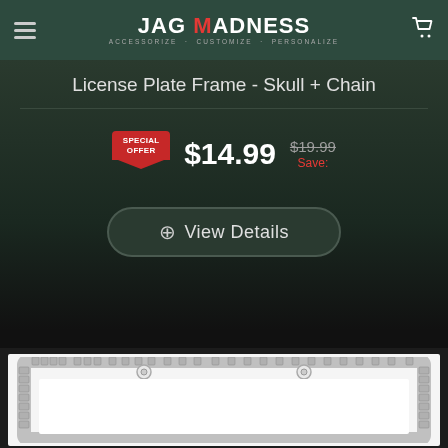JAG MADNESS - ACCESSORIZE · CUSTOMIZE · PERSONALIZE
License Plate Frame - Skull + Chain
SPECIAL OFFER $14.99 $19.99 Save:
+ View Details
[Figure (photo): Chrome license plate frame with skull and chain design decoration along border, shown on white background]